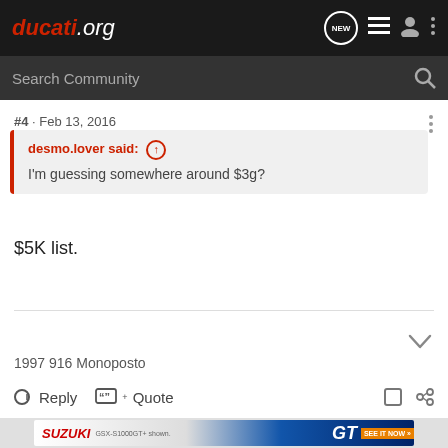ducati.org
#4 · Feb 13, 2016
desmo.lover said: ↑
I'm guessing somewhere around $3g?
$5K list.
1997 916 Monoposto
Reply  Quote
[Figure (photo): Suzuki GSX-S1000GT advertisement banner showing a motorcycle rider and the GT logo with 'SEE IT NOW' call to action]